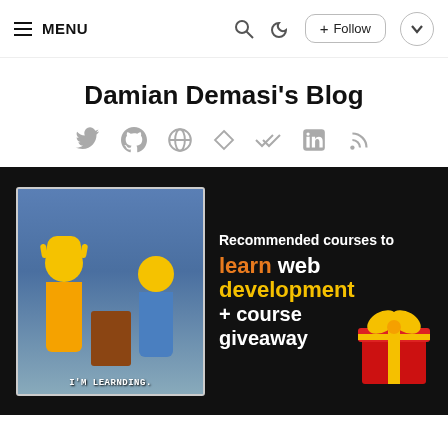≡ MENU
Damian Demasi's Blog
[Figure (infographic): Social media icons row: Twitter, GitHub, Globe, Diamond, Checkmark, LinkedIn, RSS]
[Figure (infographic): Dark banner with Simpsons meme image on left ('I'M LEARNDING.') and text: 'Recommended courses to learn web development + course giveaway' with a gift box illustration]